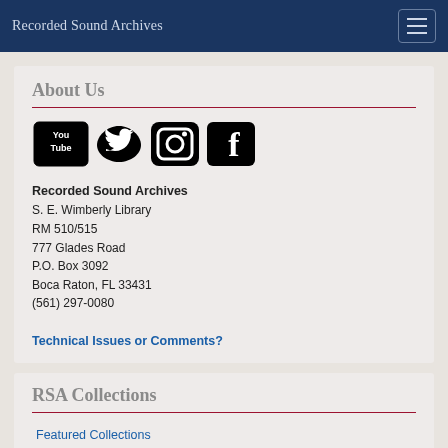Recorded Sound Archives
About Us
[Figure (logo): Social media icons: YouTube, Twitter, Instagram, Facebook]
Recorded Sound Archives
S. E. Wimberly Library
RM 510/515
777 Glades Road
P.O. Box 3092
Boca Raton, FL 33431
(561) 297-0080
Technical Issues or Comments?
RSA Collections
Featured Collections
Jazz Collection
Judaic Collection